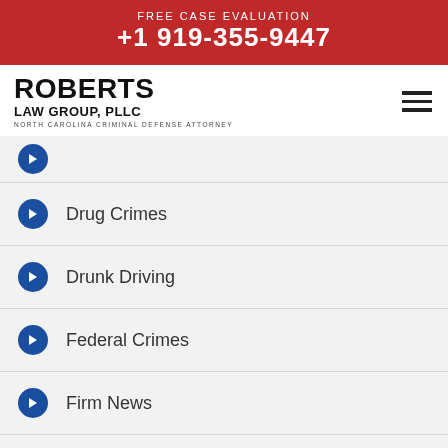FREE CASE EVALUATION +1 919-355-9447
[Figure (logo): Roberts Law Group, PLLC logo with tagline 'North Carolina Criminal Defense Attorney']
Drug Crimes
Drunk Driving
Federal Crimes
Firm News
Internet Sex Crimes